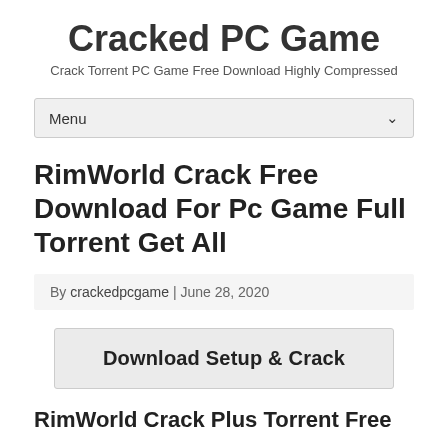Cracked PC Game
Crack Torrent PC Game Free Download Highly Compressed
Menu
RimWorld Crack Free Download For Pc Game Full Torrent Get All
By crackedpcgame | June 28, 2020
Download Setup & Crack
RimWorld Crack Plus Torrent Free